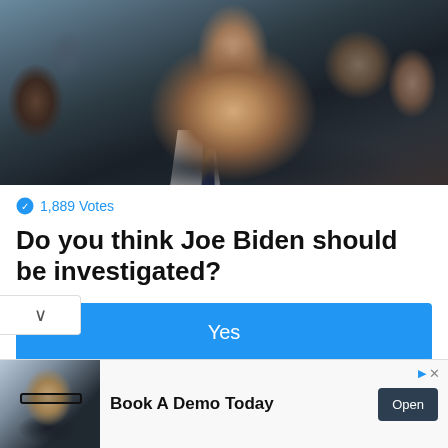[Figure (photo): Photo of Joe Biden in a dark suit with striped tie, surrounded by people in the background]
1,889 Votes
Do you think Joe Biden should be investigated?
Yes
No
[Figure (photo): Advertisement showing a man with glasses in a business setting. Text: Book A Demo Today. Button: Open]